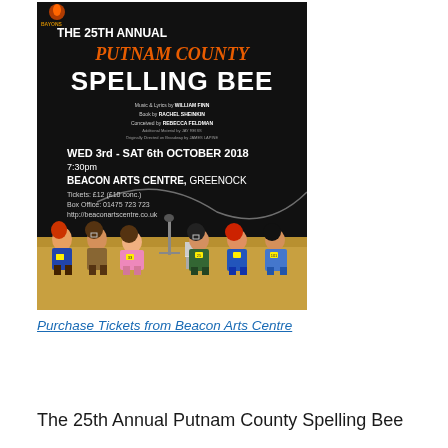[Figure (illustration): Theatrical poster for 'The 25th Annual Putnam County Spelling Bee'. Black background with illustrated cartoon children contestants. Text: Music & Lyrics by WILLIAM FINN, Book by RACHEL SHEINKIN, Conceived by REBECCA FELDMAN, Additional Material by JAY REISS, Originally Directed on Broadway by JAMES LAPINE. WED 3rd - SAT 6th OCTOBER 2018, 7:30pm, BEACON ARTS CENTRE, GREENOCK. Tickets: £12 (£10 conc.), Box Office: 01475 723 723, http://beaconartscentre.co.uk]
Purchase Tickets from Beacon Arts Centre
The 25th Annual Putnam County Spelling Bee